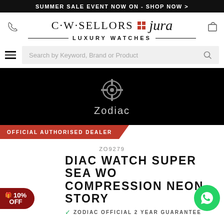SUMMER SALE EVENT NOW ON - SHOP NOW >
[Figure (logo): C·W·SELLORS and jura Luxury Watches logo with phone icon left and shopping bag icon right]
[Figure (logo): Zodiac brand logo (Celtic cross symbol) on black background with text 'Zodiac']
OFFICIAL AUTHORISED DEALER
ZO9279
ZODIAC WATCH SUPER SEA WOLF COMPRESSION NEON STORY
✓ ZODIAC OFFICIAL 2 YEAR GUARANTEE